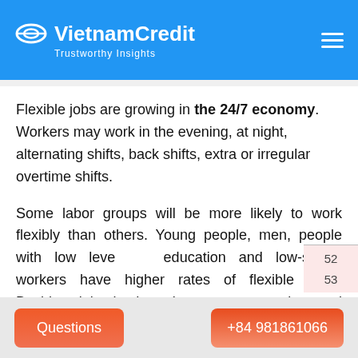VietnamCredit — Trustworthy Insights
Flexible jobs are growing in the 24/7 economy. Workers may work in the evening, at night, alternating shifts, back shifts, extra or irregular overtime shifts.
Some labor groups will be more likely to work flexibly than others. Young people, men, people with low levels of education and low-skilled workers have higher rates of flexible work. Besides, jobs in the private sector, service, and sales sectors have more flexible workers: gatekeepers, waiters, retail staff, nurses and personal service providers. This being one of the fastest-growing industries in the US and globally is not merely a
Questions | +84 981861066